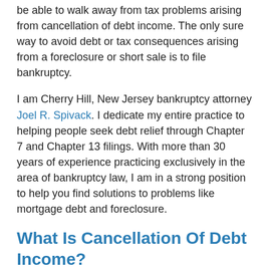be able to walk away from tax problems arising from cancellation of debt income. The only sure way to avoid debt or tax consequences arising from a foreclosure or short sale is to file bankruptcy.
I am Cherry Hill, New Jersey bankruptcy attorney Joel R. Spivack. I dedicate my entire practice to helping people seek debt relief through Chapter 7 and Chapter 13 filings. With more than 30 years of experience practicing exclusively in the area of bankruptcy law, I am in a strong position to help you find solutions to problems like mortgage debt and foreclosure.
What Is Cancellation Of Debt Income?
When a lender cancels or forgives a debt, whether it is a $5,000 credit card bill or a $200,000 mortgage, the lender is required to report the forgiven debt to the Internal Revenue Service (IRS). The IRS then treats the debt to the person as will